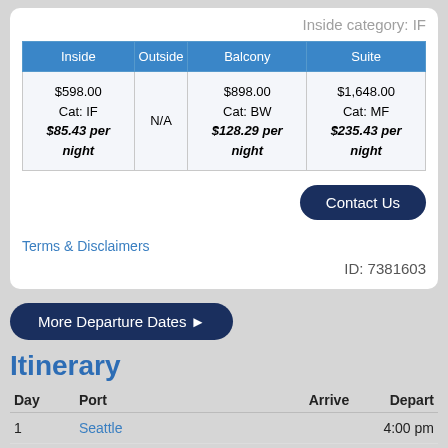Inside category: IF
| Inside | Outside | Balcony | Suite |
| --- | --- | --- | --- |
| $598.00
Cat: IF
$85.43 per night | N/A | $898.00
Cat: BW
$128.29 per night | $1,648.00
Cat: MF
$235.43 per night |
Contact Us
Terms & Disclaimers
ID: 7381603
More Departure Dates ▶
Itinerary
| Day | Port | Arrive | Depart |
| --- | --- | --- | --- |
| 1 | Seattle |  | 4:00 pm |